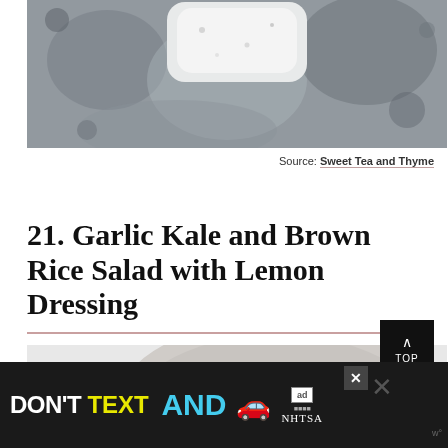[Figure (photo): Top portion of a food photo showing a bowl or plate on a dark textured background, partially cropped]
Source: Sweet Tea and Thyme
21. Garlic Kale and Brown Rice Salad with Lemon Dressing
[Figure (photo): Close-up photo of a speckled ceramic bowl containing a salad with lemon dressing]
[Figure (other): DON'T TEXT AND [car emoji] advertisement banner — NHTSA ad with close button]